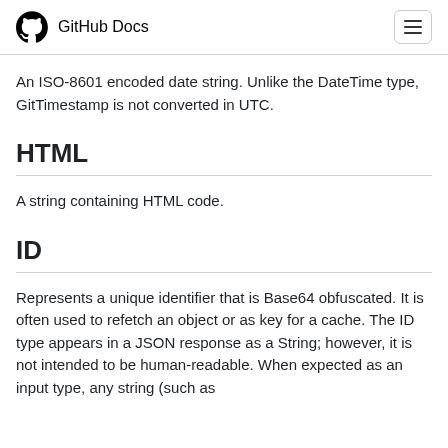GitHub Docs
An ISO-8601 encoded date string. Unlike the DateTime type, GitTimestamp is not converted in UTC.
HTML
A string containing HTML code.
ID
Represents a unique identifier that is Base64 obfuscated. It is often used to refetch an object or as key for a cache. The ID type appears in a JSON response as a String; however, it is not intended to be human-readable. When expected as an input type, any string (such as